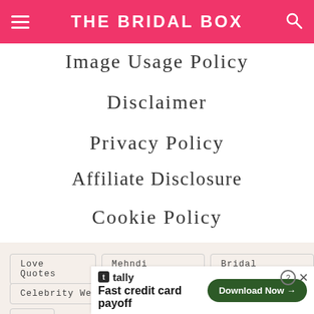THE BRIDAL BOX
Image Usage Policy
Disclaimer
Privacy Policy
Affiliate Disclosure
Cookie Policy
Love Quotes
Mehndi Designs
Bridal Dresses
Celebrity Weddings
Bridal Makeup
Wedd
Fast credit card payoff
Download Now →